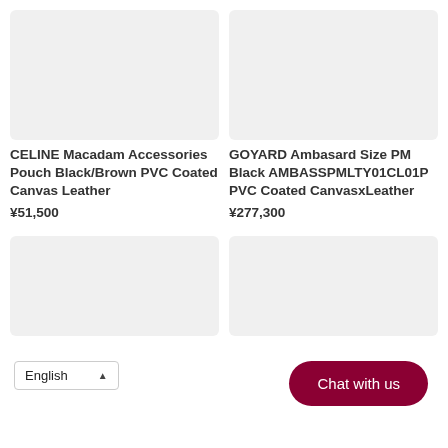[Figure (photo): Product image placeholder for CELINE Macadam Accessories Pouch, light gray background]
CELINE Macadam Accessories Pouch Black/Brown PVC Coated Canvas Leather
¥51,500
[Figure (photo): Product image placeholder for GOYARD Ambasard Size PM Black, light gray background]
GOYARD Ambasard Size PM Black AMBASSPMLTY01CL01P PVC Coated CanvasxLeather
¥277,300
[Figure (photo): Product image placeholder, bottom left, light gray background]
[Figure (photo): Product image placeholder, bottom right, light gray background]
English
Chat with us